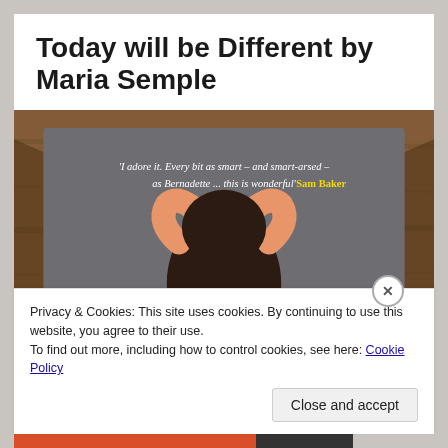Today will be Different by Maria Semple
[Figure (photo): Photo of the book 'Today Will Be Different' by Maria Semple, showing the grey book cover with the title written in white handwriting three times, and an illustration of a woman with dark hair covering her face with crossed arms. The book is placed on a wooden surface. A quote at the top reads: 'I adore it. Every bit as smart – and smart-arsed – as Bernadette ... this is wonderful' Sam Baker]
Privacy & Cookies: This site uses cookies. By continuing to use this website, you agree to their use.
To find out more, including how to control cookies, see here: Cookie Policy
Close and accept